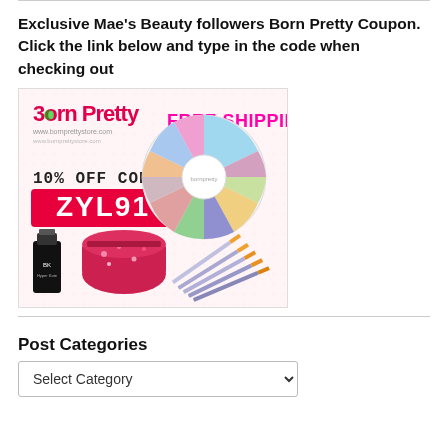Exclusive Mae’s Beauty followers Born Pretty Coupon. Click the link below and type in the code when checking out
[Figure (illustration): Born Pretty store advertisement banner showing the logo, FREE SHIPPING text in pink, 10% OFF CODE, coupon code ZYL91 on a pink background, nail art rhinestone wheel, glitter container, and nail art brushes]
Post Categories
Select Category (dropdown)